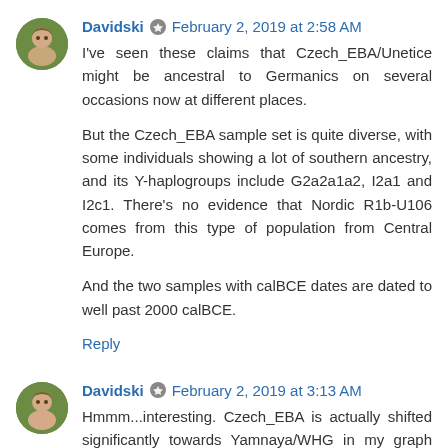Davidski · February 2, 2019 at 2:58 AM
I've seen these claims that Czech_EBA/Unetice might be ancestral to Germanics on several occasions now at different places.
But the Czech_EBA sample set is quite diverse, with some individuals showing a lot of southern ancestry, and its Y-haplogroups include G2a2a1a2, I2a1 and I2c1. There's no evidence that Nordic R1b-U106 comes from this type of population from Central Europe.
And the two samples with calBCE dates are dated to well past 2000 calBCE.
Reply
Davidski · February 2, 2019 at 3:13 AM
Hmmm...interesting. Czech_EBA is actually shifted significantly towards Yamnaya/WHG in my graph relative to Beaker_Czech, suggesting that there was gene flow into